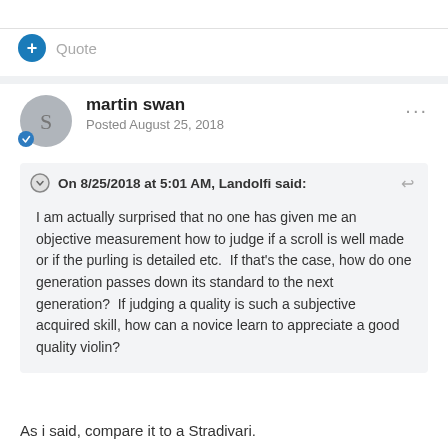+ Quote
martin swan
Posted August 25, 2018
On 8/25/2018 at 5:01 AM, Landolfi said:

I am actually surprised that no one has given me an objective measurement how to judge if a scroll is well made or if the purling is detailed etc.  If that's the case, how do one generation passes down its standard to the next generation?  If judging a quality is such a subjective acquired skill, how can a novice learn to appreciate a good quality violin?
As i said, compare it to a Stradivari.